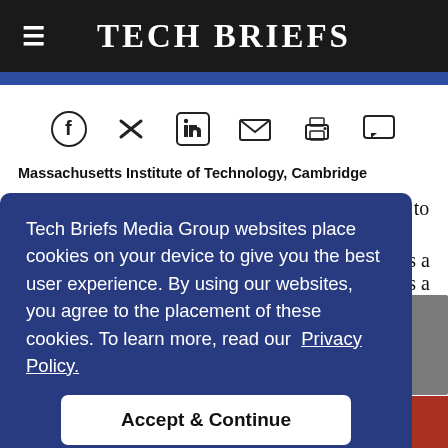Tech Briefs
[Figure (infographic): Social sharing icons: Facebook, Twitter, LinkedIn, Email, Print, Comment]
Massachusetts Institute of Technology, Cambridge
A new learning system improves a robot's ability to mold
Tech Briefs Media Group websites place cookies on your device to give you the best user experience. By using our websites, you agree to the placement of these cookies. To learn more, read our Privacy Policy.
Accept & Continue